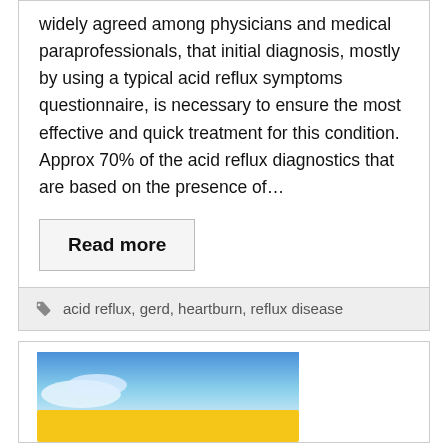widely agreed among physicians and medical paraprofessionals, that initial diagnosis, mostly by using a typical acid reflux symptoms questionnaire, is necessary to ensure the most effective and quick treatment for this condition. Approx 70% of the acid reflux diagnostics that are based on the presence of…
Read more
acid reflux, gerd, heartburn, reflux disease
[Figure (photo): Partial image showing blue sky with white clouds and a yellow shape at the bottom, likely a road sign or vehicle.]